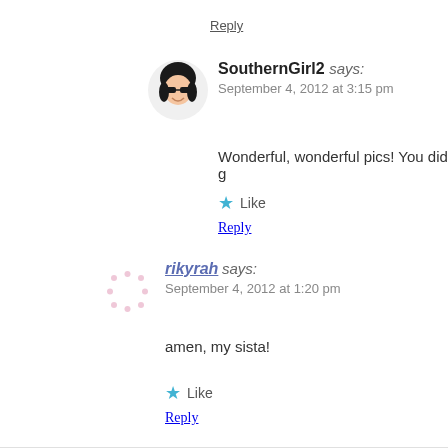Reply
SouthernGirl2 says:
September 4, 2012 at 3:15 pm
[Figure (illustration): Avatar of SouthernGirl2: cartoon woman with black hair and sunglasses]
Wonderful, wonderful pics! You did g
Like
Reply
[Figure (illustration): Avatar of rikyrah: dotted placeholder avatar pattern]
rikyrah says:
September 4, 2012 at 1:20 pm
amen, my sista!
Like
Reply